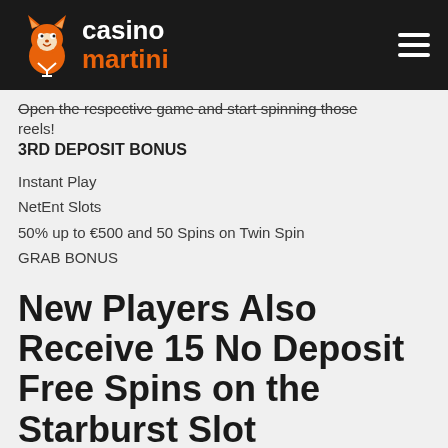[Figure (logo): Casino Martini logo with orange fox mascot and text 'casino martini' in white and orange on dark background, with hamburger menu icon]
Open the respective game and start spinning those reels!
3RD DEPOSIT BONUS
Instant Play
NetEnt Slots
50% up to €500 and 50 Spins on Twin Spin
GRAB BONUS
New Players Also Receive 15 No Deposit Free Spins on the Starburst Slot
The moment new players set their foot in Slotnite Casino, they can claim 15 free spins on one of the NetEnt's most celebrated